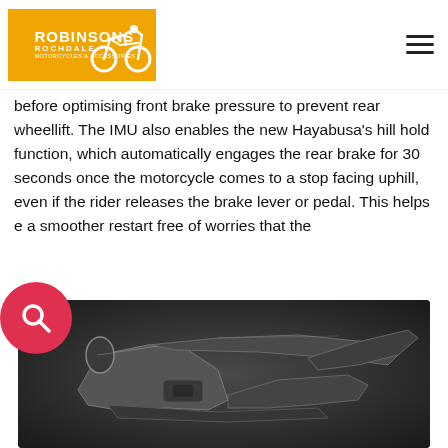Robinsons Rochdale – motorcycles & accessories
before optimising front brake pressure to prevent rear wheellift. The IMU also enables the new Hayabusa's hill hold function, which automatically engages the rear brake for 30 seconds once the motorcycle comes to a stop facing uphill, even if the rider releases the brake lever or pedal. This helps e a smoother restart free of worries that the
[Figure (photo): Motorcycle frame/chassis of the Suzuki Hayabusa, shown as a bare aluminium frame against a dark grey gradient background]